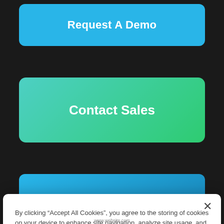[Figure (screenshot): Blue 'Request A Demo' button with white bold text, rounded corners on dark background]
[Figure (screenshot): Green gradient 'Contact Sales' button with white bold text, rounded corners on dark background]
[Figure (screenshot): Partial blue button visible at bottom of dark background]
By clicking “Accept All Cookies”, you agree to the storing of cookies on your device to enhance site navigation, analyze site usage, and assist in our marketing efforts. Privacy Notice
[Figure (screenshot): Green 'Accept All Cookies' button]
Cookies Settings